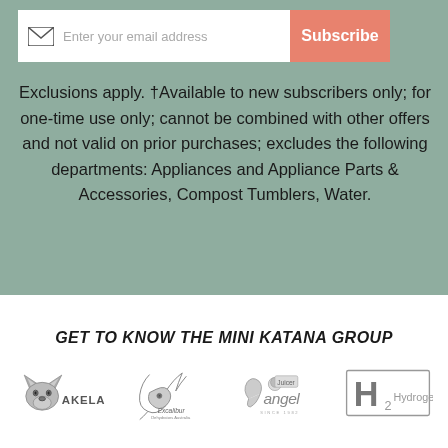[Figure (screenshot): Email subscription bar with envelope icon, placeholder text 'Enter your email address', and a salmon-colored 'Subscribe' button]
Exclusions apply. †Available to new subscribers only; for one-time use only; cannot be combined with other offers and not valid on prior purchases; excludes the following departments: Appliances and Appliance Parts & Accessories, Compost Tumblers, Water.
GET TO KNOW THE MINI KATANA GROUP
[Figure (logo): Four brand logos in a row: Akela (wolf head), Excalibur, Angel Juicer, H2 Hydrogen]